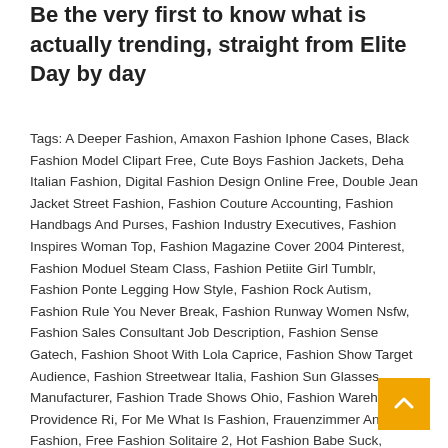Be the very first to know what is actually trending, straight from Elite Day by day
Tags: A Deeper Fashion, Amaxon Fashion Iphone Cases, Black Fashion Model Clipart Free, Cute Boys Fashion Jackets, Deha Italian Fashion, Digital Fashion Design Online Free, Double Jean Jacket Street Fashion, Fashion Couture Accounting, Fashion Handbags And Purses, Fashion Industry Executives, Fashion Inspires Woman Top, Fashion Magazine Cover 2004 Pinterest, Fashion Moduel Steam Class, Fashion Petiite Girl Tumblr, Fashion Ponte Legging How Style, Fashion Rock Autism, Fashion Rule You Never Break, Fashion Runway Women Nsfw, Fashion Sales Consultant Job Description, Fashion Sense Gatech, Fashion Shoot With Lola Caprice, Fashion Show Target Audience, Fashion Streetwear Italia, Fashion Sun Glasses Manufacturer, Fashion Trade Shows Ohio, Fashion Warehouse Providence Ri, For Me What Is Fashion, Frauenzimmer And Fashion, Free Fashion Solitaire 2, Hot Fashion Babe Suck, Loading Singer Fashion Mate, Louie Rose Fashion, New Fa Blazer Design, Nigerian Ankara Fashion, Nyc Fashion Tra Shows 2017, Pink Oval Fashion Glasses, Portrait Fur Fashion,